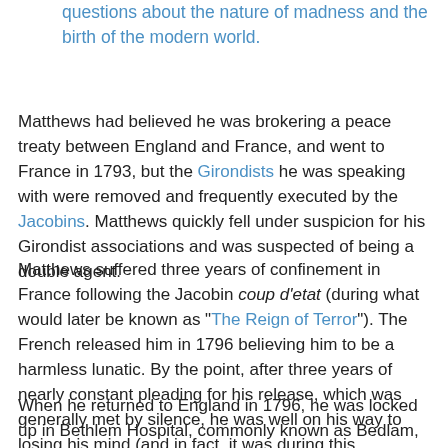history, A Visionary Madness raises profound questions about the nature of madness and the birth of the modern world.
Matthews had believed he was brokering a peace treaty between England and France, and went to France in 1793, but the Girondists he was speaking with were removed and frequently executed by the Jacobins. Matthews quickly fell under suspicion for his Girondist associations and was suspected of being a double agent.
Matthews suffered three years of confinement in France following the Jacobin coup d’etat (during what would later be known as "The Reign of Terror"). The French released him in 1796 believing him to be a harmless lunatic. By the point, after three years of nearly constant pleading for his release, which was generally met by silence, he was well on his way to losing his mind (and in fact, it was during this confinement that the first obvious symptoms began to appear).
When he returned to England in 1796, he was locked up in Bethlem Hospital, commonly known as Bedlam, after disrupting a debate in the House of Commons. He was